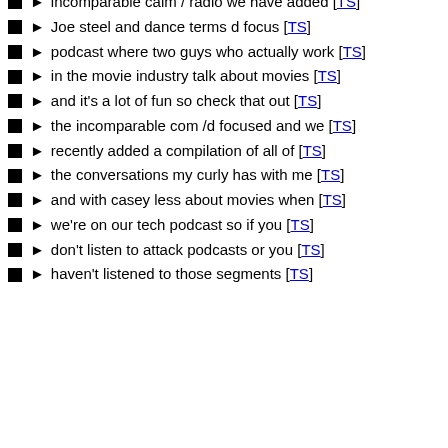incomparable calm / radio we have added [TS]
Joe steel and dance terms d focus [TS]
podcast where two guys who actually work [TS]
in the movie industry talk about movies [TS]
and it's a lot of fun so check that out [TS]
the incomparable com /d focused and we [TS]
recently added a compilation of all of [TS]
the conversations my curly has with me [TS]
and with casey less about movies when [TS]
we're on our tech podcast so if you [TS]
don't listen to attack podcasts or you [TS]
haven't listened to those segments [TS]